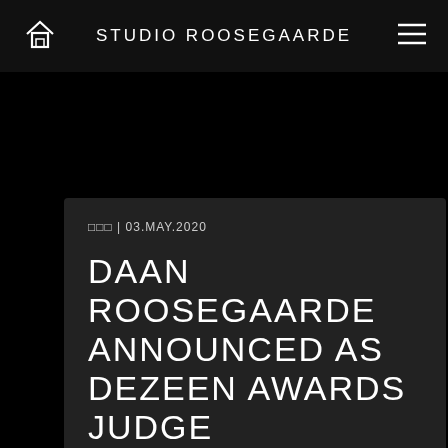STUDIO ROOSEGAARDE
□□□ | 03.MAY.2020
DAAN ROOSEGAARDE ANNOUNCED AS DEZEEN AWARDS JUDGE
Daan Roosegaarde is judging this year